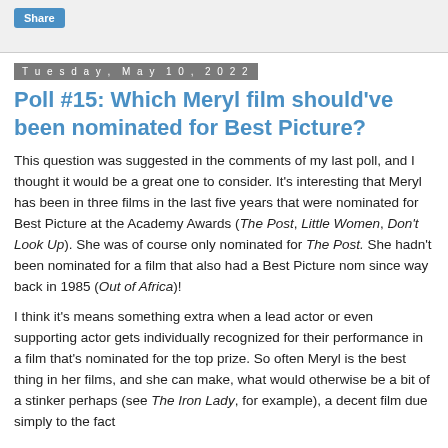Share
Tuesday, May 10, 2022
Poll #15: Which Meryl film should've been nominated for Best Picture?
This question was suggested in the comments of my last poll, and I thought it would be a great one to consider. It's interesting that Meryl has been in three films in the last five years that were nominated for Best Picture at the Academy Awards (The Post, Little Women, Don't Look Up). She was of course only nominated for The Post. She hadn't been nominated for a film that also had a Best Picture nom since way back in 1985 (Out of Africa)!
I think it's means something extra when a lead actor or even supporting actor gets individually recognized for their performance in a film that's nominated for the top prize. So often Meryl is the best thing in her films, and she can make, what would otherwise be a bit of a stinker perhaps (see The Iron Lady, for example), a decent film due simply to the fact